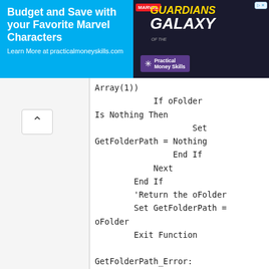[Figure (screenshot): Advertisement banner: 'Budget and Save with your Favorite Marvel Characters - Learn More at practicalmoneyskills.com' with Guardians of the Galaxy branding and Practical Money Skills logo]
Array(1))
            If oFolder Is Nothing Then
                    Set GetFolderPath = Nothing
                End If
            Next
        End If
        'Return the oFolder
        Set GetFolderPath = oFolder
        Exit Function

GetFolderPath_Error:
        Set GetFolderPath = Nothing
        Exit Function
End Function